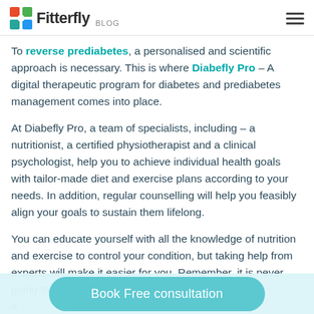Fitterfly BLOG
To reverse prediabetes, a personalised and scientific approach is necessary. This is where Diabefly Pro – A digital therapeutic program for diabetes and prediabetes management comes into place.
At Diabefly Pro, a team of specialists, including – a nutritionist, a certified physiotherapist and a clinical psychologist, help you to achieve individual health goals with tailor-made diet and exercise plans according to your needs. In addition, regular counselling will help you feasibly align your goals to sustain them lifelong.
You can educate yourself with all the knowledge of nutrition and exercise to control your condition, but taking help from experts will make it easier for you. Remember, it is never going to be a one-size-fits-all a... d...
Book Free consultation